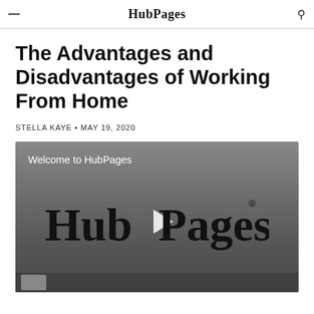HubPages
The Advantages and Disadvantages of Working From Home
STELLA KAYE • MAY 19, 2020
[Figure (screenshot): Video player showing 'Welcome to HubPages' with HubPages logo and play button on a grey background]